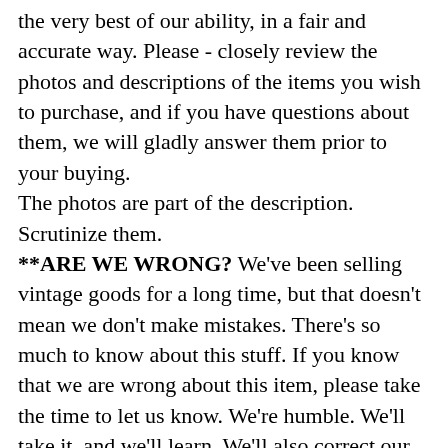the very best of our ability, in a fair and accurate way. Please - closely review the photos and descriptions of the items you wish to purchase, and if you have questions about them, we will gladly answer them prior to your buying. The photos are part of the description. Scrutinize them. **ARE WE WRONG? We've been selling vintage goods for a long time, but that doesn't mean we don't make mistakes. There's so much to know about this stuff. If you know that we are wrong about this item, please take the time to let us know. We're humble. We'll take it, and we'll learn. We'll also correct our listing. Our packing materials may be unsightly, albeit brilliantly effective. We try to reuse as much material as possible from our business. We encourage you to do the same.